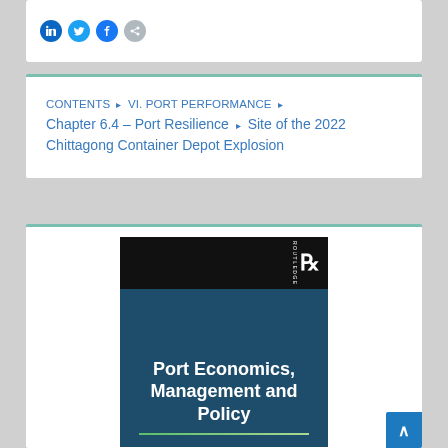[Figure (illustration): Social media share icon buttons (LinkedIn, Twitter, Facebook, Email) as colored circles on white background]
CONTENTS ▸ VI. PORT PERFORMANCE ▸ Chapter 6.4 – Port Resilience ▸ Site of the 2022 Chittagong Container Depot Explosion
[Figure (photo): Book cover of 'Port Economics, Management and Policy' published by Routledge, with dark navy background and green line accent]